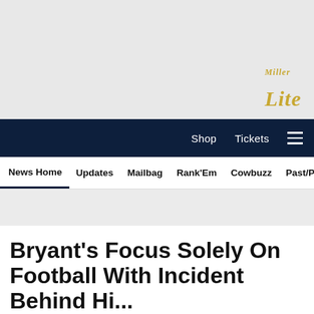[Figure (other): Miller Lite advertisement banner - gray background with Miller Lite logo in gold cursive at bottom right]
Shop   Tickets   ☰
News Home   Updates   Mailbag   Rank'Em   Cowbuzz   Past/Pres
Bryant's Focus Solely On Football With Incident Behind Hi...
[Figure (other): Social share icons: Facebook, Twitter, Email, Link]